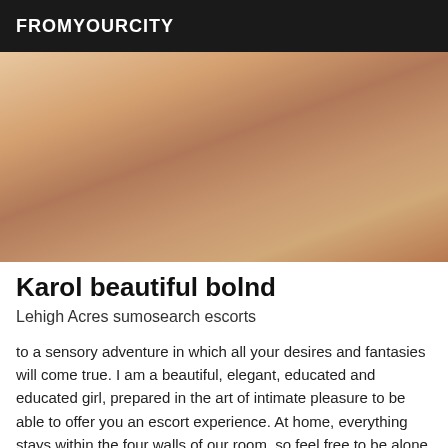FROMYOURCITY
[Figure (photo): Close-up photo of a woman wearing a white lace bralette, with blonde hair, tan skin, against a light background.]
Karol beautiful bolnd
Lehigh Acres sumosearch escorts
to a sensory adventure in which all your desires and fantasies will come true. I am a beautiful, elegant, educated and educated girl, prepared in the art of intimate pleasure to be able to offer you an escort experience. At home, everything stays within the four walls of our room, so feel free to be alone and show your